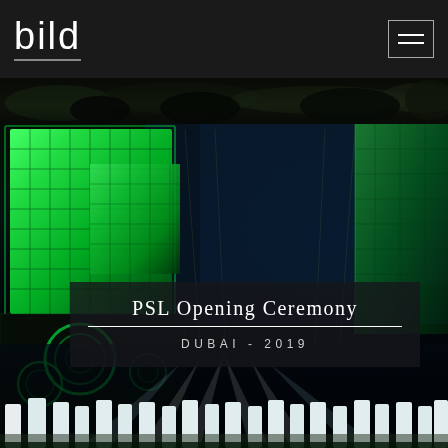[Figure (logo): bild logo - white lowercase text with underline on dark background]
[Figure (photo): Top strip: dark blurry crowd/event silhouette photo strip]
[Figure (photo): Main event photo: PSL Opening Ceremony Dubai 2019, large green LED cube screens hanging above a stage with blue lighting, circular green decorations, white pillar lights along the floor, with dramatic spotlights]
PSL Opening Ceremony
DUBAI - 2019